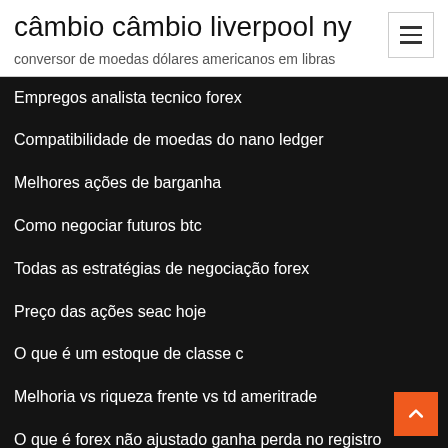câmbio câmbio liverpool ny
conversor de moedas dólares americanos em libras
Empregos analista tecnico forex
Compatibilidade de moedas do nano ledger
Melhores ações de barganha
Como negociar futuros btc
Todas as estratégias de negociação forex
Preço das ações seac hoje
O que é um estoque de classe c
Melhoria vs riqueza frente vs td ameritrade
O que é forex não ajustado ganha perda no registro
Site ondulação para baixo